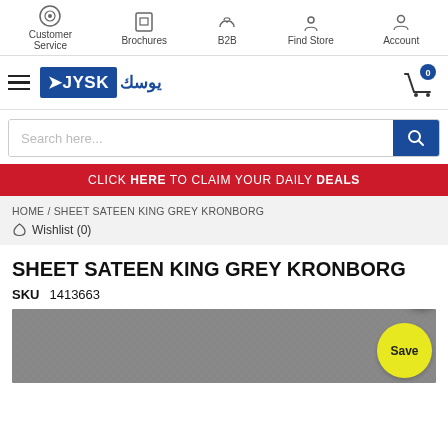Customer Service | Brochures | B2B | Find Store | Account
[Figure (logo): JYSK logo with Arabic text and hamburger menu, plus shopping cart icon with badge 0]
Search here...
CLICK HERE TO CLAIM YOUR DAILY DEALS
HOME / SHEET SATEEN KING GREY KRONBORG
Wishlist (0)
SHEET SATEEN KING GREY KRONBORG
SKU   1413663
[Figure (photo): Grey fabric/sheet product photo with a yellow Save badge in the bottom right corner]